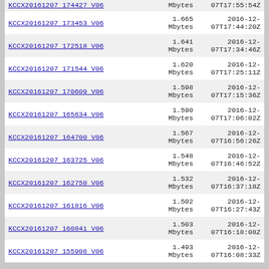| Name | Size | Date |
| --- | --- | --- |
| KCCX20161207 174427 V06 | Mbytes | 07T17:55:54Z |
| KCCX20161207 173453 V06 | 1.665 Mbytes | 2016-12-07T17:44:20Z |
| KCCX20161207 172518 V06 | 1.641 Mbytes | 2016-12-07T17:34:46Z |
| KCCX20161207 171544 V06 | 1.620 Mbytes | 2016-12-07T17:25:11Z |
| KCCX20161207 170609 V06 | 1.598 Mbytes | 2016-12-07T17:15:36Z |
| KCCX20161207 165634 V06 | 1.590 Mbytes | 2016-12-07T17:06:02Z |
| KCCX20161207 164700 V06 | 1.567 Mbytes | 2016-12-07T16:56:26Z |
| KCCX20161207 163725 V06 | 1.548 Mbytes | 2016-12-07T16:46:52Z |
| KCCX20161207 162750 V06 | 1.532 Mbytes | 2016-12-07T16:37:18Z |
| KCCX20161207 161816 V06 | 1.502 Mbytes | 2016-12-07T16:27:43Z |
| KCCX20161207 160841 V06 | 1.503 Mbytes | 2016-12-07T16:18:08Z |
| KCCX20161207 155906 V06 | 1.493 Mbytes | 2016-12-07T16:08:33Z |